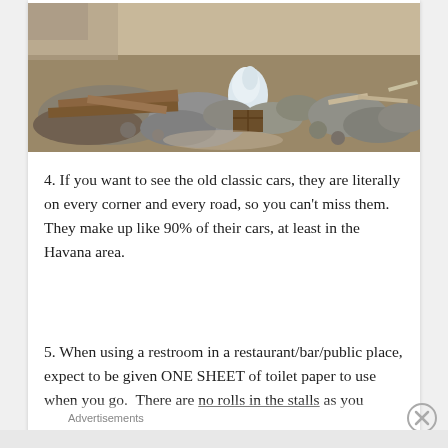[Figure (photo): Outdoor scene showing rubble, rocks, debris, broken materials and a white plastic bag on dusty ground]
4. If you want to see the old classic cars, they are literally on every corner and every road, so you can't miss them. They make up like 90% of their cars, at least in the Havana area.
5. When using a restroom in a restaurant/bar/public place, expect to be given ONE SHEET of toilet paper to use when you go. There are no rolls in the stalls as you
Advertisements